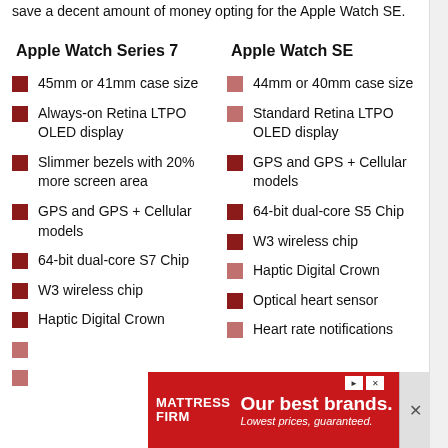save a decent amount of money opting for the Apple Watch SE.
Apple Watch Series 7
Apple Watch SE
45mm or 41mm case size
Always-on Retina LTPO OLED display
Slimmer bezels with 20% more screen area
GPS and GPS + Cellular models
64-bit dual-core S7 Chip
W3 wireless chip
Haptic Digital Crown
44mm or 40mm case size
Standard Retina LTPO OLED display
GPS and GPS + Cellular models
64-bit dual-core S5 Chip
W3 wireless chip
Haptic Digital Crown
Optical heart sensor
Heart rate notifications
[Figure (other): Mattress Firm advertisement banner: 'Our best brands. Lowest prices, guaranteed.']